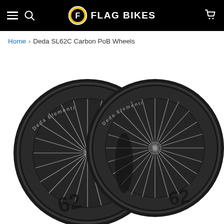FLAG BIKES navigation bar with hamburger menu, search icon, Flag Bikes logo, and cart icon
Home > Deda SL62C Carbon PoB Wheels
[Figure (photo): Two Deda Elementi SL62C carbon road bike wheels (front and rear) shown side by side on a white background. The wheels feature deep carbon rims with silver spokes and black hubs, with 'Deda Elementi' text along the rim and '62' branding on the lower portion.]